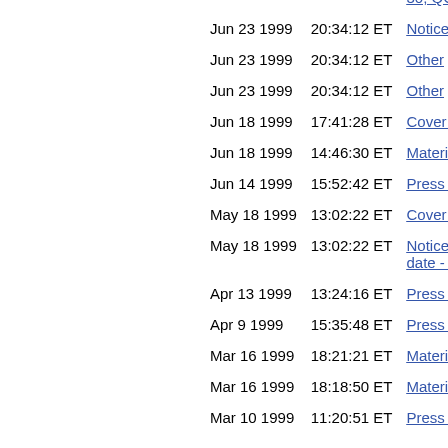| Date | Time | Description |
| --- | --- | --- |
|  |  | 30, QC) |
| Jun 23 1999 | 20:34:12 ET | Notice of m... |
| Jun 23 1999 | 20:34:12 ET | Other |
| Jun 23 1999 | 20:34:12 ET | Other |
| Jun 18 1999 | 17:41:28 ET | Cover lette... |
| Jun 18 1999 | 14:46:30 ET | Material ch... |
| Jun 14 1999 | 15:52:42 ET | Press relea... |
| May 18 1999 | 13:02:22 ET | Cover lette... |
| May 18 1999 | 13:02:22 ET | Notice of th... date - Engl... |
| Apr 13 1999 | 13:24:16 ET | Press relea... |
| Apr 9 1999 | 15:35:48 ET | Press relea... |
| Mar 16 1999 | 18:21:21 ET | Material ch... |
| Mar 16 1999 | 18:18:50 ET | Material ch... |
| Mar 10 1999 | 11:20:51 ET | Press relea... |